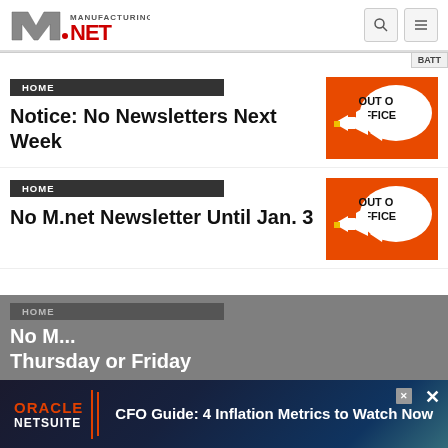Manufacturing.NET logo with search and menu icons
HOME
Notice: No Newsletters Next Week
[Figure (illustration): Orange background with speech bubble saying OUT OF OFFICE and megaphones]
HOME
No M.net Newsletter Until Jan. 3
[Figure (illustration): Orange background with speech bubble saying OUT OF OFFICE and megaphones]
HOME
No M... Thursday or Friday
[Figure (advertisement): Oracle NetSuite ad: CFO Guide: 4 Inflation Metrics to Watch Now]